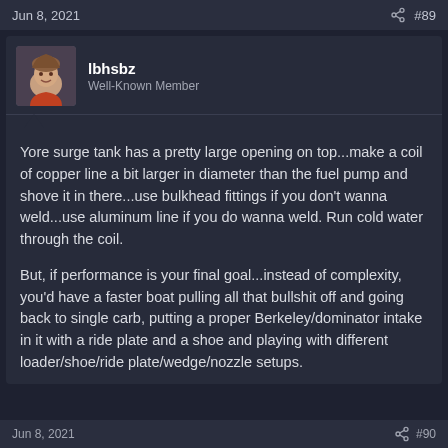Jun 8, 2021  #89
lbhsbz
Well-Known Member
Yore surge tank has a pretty large opening on top...make a coil of copper line a bit larger in diameter than the fuel pump and shove it in there...use bulkhead fittings if you don’t wanna weld...use aluminum line if you do wanna weld. Run cold water through the coil.
But, if performance is your final goal...instead of complexity, you’d have a faster boat pulling all that bullshit off and going back to single carb, putting a proper Berkeley/dominator intake in it with a ride plate and a shoe and playing with different loader/shoe/ride plate/wedge/nozzle setups.
Jun 8, 2021  #90